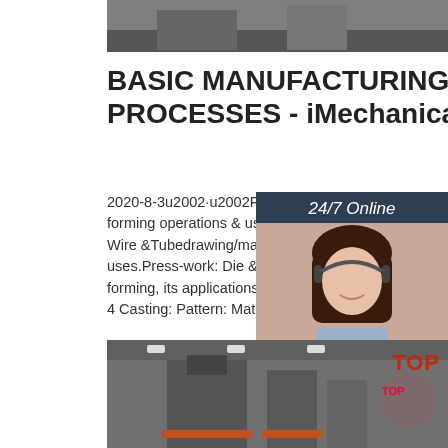[Figure (photo): Industrial machinery in a factory setting, grayscale image, top crop]
BASIC MANUFACTURING PROCESSES - iMechanica
2020-8-3u2002·u2002Forming Processes: Basic forming operations & uses of such as: Forging Wire &Tubedrawing/making and Extrusion, and uses.Press-work: Die & Punch assembly, cutting forming, its applications.Hot-working versus co 4 Casting: Pattern: Materials, types and …
[Figure (photo): 24/7 Online chat widget with photo of woman wearing headset, dark blue background, Click here for free chat, QUOTATION button]
[Figure (photo): Industrial press machine in factory, grayscale image, bottom portion of page]